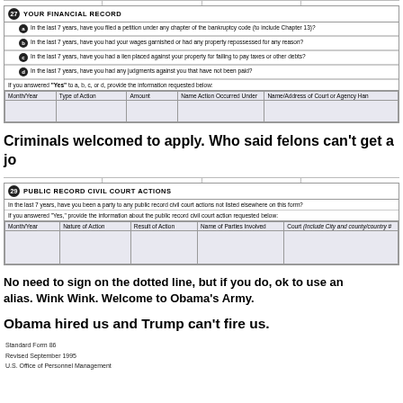|  | YOUR FINANCIAL RECORD |
| --- | --- |
| a | In the last 7 years, have you filed a petition under any chapter of the bankruptcy code (to include Chapter 13)? |
| b | In the last 7 years, have you had your wages garnished or had any property repossessed for any reason? |
| c | In the last 7 years, have you had a lien placed against your property for failing to pay taxes or other debts? |
| d | In the last 7 years, have you had any judgments against you that have not been paid? |
|  | If you answered "Yes" to a, b, c, or d, provide the information requested below: |
| Month/Year | Type of Action | Amount | Name Action Occurred Under | Name/Address of Court or Agency Han |
Criminals welcomed to apply. Who said felons can't get a jo
|  | PUBLIC RECORD CIVIL COURT ACTIONS |
| --- | --- |
|  | In the last 7 years, have you been a party to any public record civil court actions not listed elsewhere on this form? |
|  | If you answered "Yes," provide the information about the public record civil court action requested below: |
| Month/Year | Nature of Action | Result of Action | Name of Parties Involved | Court (Include City and county/country # |
No need to sign on the dotted line, but if you do, ok to use an alias. Wink Wink. Welcome to Obama's Army.
Obama hired us and Trump can't fire us.
Standard Form 86
Revised September 1995
...